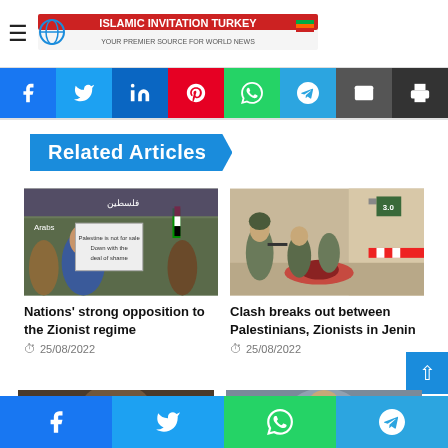Islamic Invitation Turkey
[Figure (screenshot): Social sharing button bar with Facebook, Twitter, LinkedIn, Pinterest, WhatsApp, Telegram, Email, Print buttons]
Related Articles
[Figure (photo): Protest photo showing women holding signs reading 'Palestine is not for sale, Down with the deal of shame']
Nations’ strong opposition to the Zionist regime
25/08/2022
[Figure (photo): Soldiers attending to a wounded person on the ground near barriers]
Clash breaks out between Palestinians, Zionists in Jenin
25/08/2022
[Figure (photo): Partial view of two article thumbnail images at the bottom of the page]